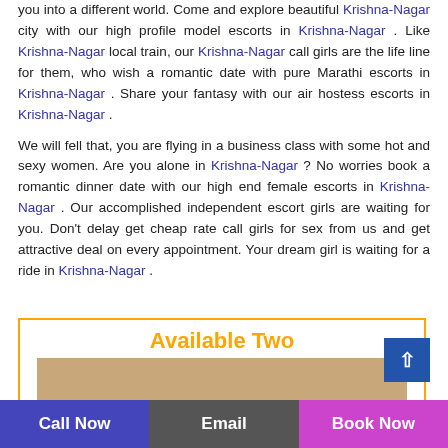you into a different world. Come and explore beautiful Krishna-Nagar city with our high profile model escorts in Krishna-Nagar . Like Krishna-Nagar local train, our Krishna-Nagar call girls are the life line for them, who wish a romantic date with pure Marathi escorts in Krishna-Nagar . Share your fantasy with our air hostess escorts in Krishna-Nagar .
We will fell that, you are flying in a business class with some hot and sexy women. Are you alone in Krishna-Nagar ? No worries book a romantic dinner date with our high end female escorts in Krishna-Nagar . Our accomplished independent escort girls are waiting for you. Don't delay get cheap rate call girls for sex from us and get attractive deal on every appointment. Your dream girl is waiting for a ride in Krishna-Nagar .
Available Two
[Figure (photo): Photo strip of women at the bottom of the box section]
Call Now | Email | Book Now